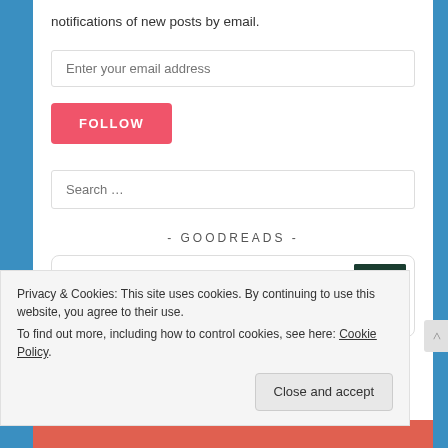notifications of new posts by email.
Enter your email address
FOLLOW
Search …
- GOODREADS -
State of Wonder
by Ann Patchett
Privacy & Cookies: This site uses cookies. By continuing to use this website, you agree to their use.
To find out more, including how to control cookies, see here: Cookie Policy
Close and accept